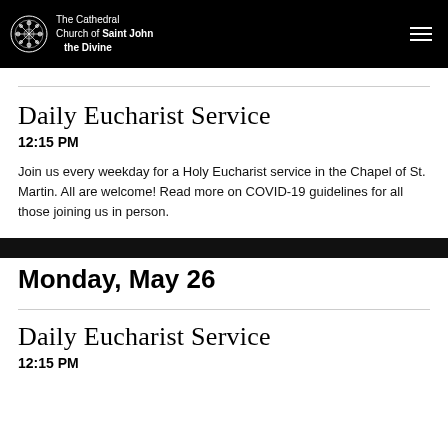The Cathedral Church of Saint John the Divine
Daily Eucharist Service
12:15 PM
Join us every weekday for a Holy Eucharist service in the Chapel of St. Martin. All are welcome! Read more on COVID-19 guidelines for all those joining us in person.
Monday, May 26
Daily Eucharist Service
12:15 PM